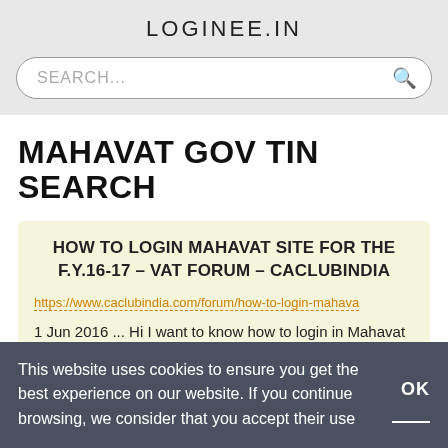LOGINEE.IN
SEARCH...
MAHAVAT GOV TIN SEARCH
HOW TO LOGIN MAHAVAT SITE FOR THE F.Y.16-17 – VAT FORUM – CACLUBINDIA
https://www.caclubindia.com/forum/how-to-login-mahava
1 Jun 2016 ... Hi I want to know how to login in Mahavat site for the F.Y.16-17 as I m not able to login by my
This website uses cookies to ensure you get the best experience on our website. If you continue browsing, we consider that you accept their use